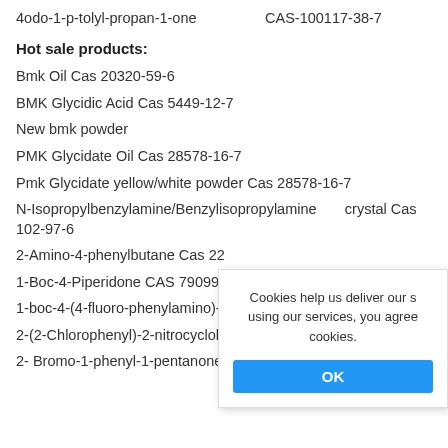4odo-1-p-tolyl-propan-1-one CAS-100117-38-7
Hot sale products:
Bmk Oil Cas 20320-59-6
BMK Glycidic Acid Cas 5449-12-7
New bmk powder
PMK Glycidate Oil Cas 28578-16-7
Pmk Glycidate yellow/white powder Cas 28578-16-7
N-Isopropylbenzylamine/Benzylisopropylamine crystal Cas 102-97-6
2-Amino-4-phenylbutane Cas 22
1-Boc-4-Piperidone CAS 79099-
1-boc-4-(4-fluoro-phenylamino)-p
2-(2-Chlorophenyl)-2-nitrocycloh
2- Bromo-1-phenyl-1-pentanone